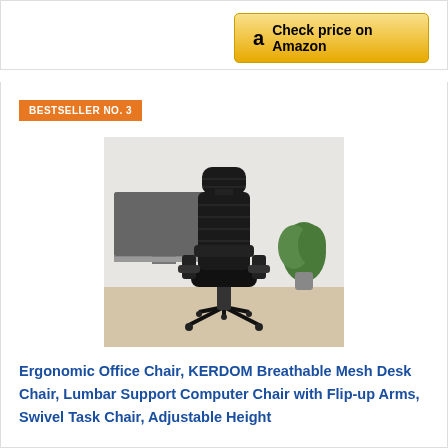[Figure (other): Amazon 'Check price on Amazon' button with orange/gold gradient background]
BESTSELLER NO. 3
[Figure (photo): Black ergonomic mesh office chair with headrest, flip-up arms, and five-star base on wheels, shown in a modern office setting with a monitor and plant in the background]
Ergonomic Office Chair, KERDOM Breathable Mesh Desk Chair, Lumbar Support Computer Chair with Flip-up Arms, Swivel Task Chair, Adjustable Height